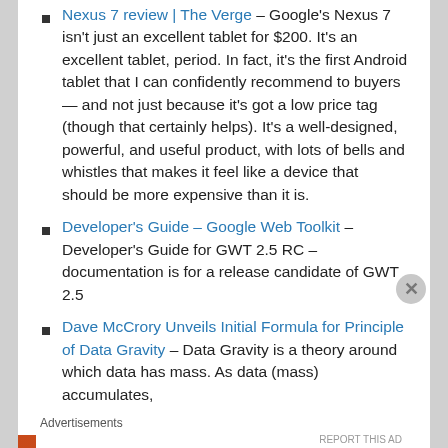Nexus 7 review | The Verge – Google's Nexus 7 isn't just an excellent tablet for $200. It's an excellent tablet, period. In fact, it's the first Android tablet that I can confidently recommend to buyers — and not just because it's got a low price tag (though that certainly helps). It's a well-designed, powerful, and useful product, with lots of bells and whistles that makes it feel like a device that should be more expensive than it is.
Developer's Guide – Google Web Toolkit – Developer's Guide for GWT 2.5 RC – documentation is for a release candidate of GWT 2.5
Dave McCrory Unveils Initial Formula for Principle of Data Gravity – Data Gravity is a theory around which data has mass. As data (mass) accumulates,
Advertisements
[Figure (infographic): DuckDuckGo advertisement banner with orange background. Text reads: Search, browse, and email with more privacy. All in One Free App. Shows a phone with the DuckDuckGo duck logo.]
REPORT THIS AD